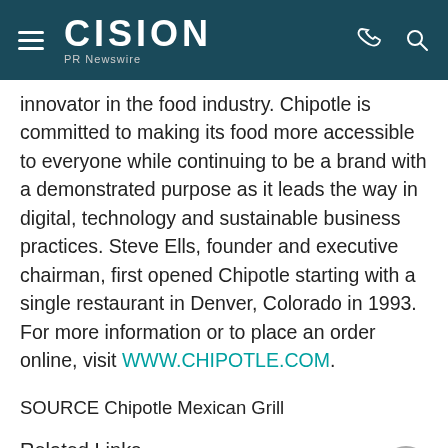CISION PR Newswire
innovator in the food industry. Chipotle is committed to making its food more accessible to everyone while continuing to be a brand with a demonstrated purpose as it leads the way in digital, technology and sustainable business practices. Steve Ells, founder and executive chairman, first opened Chipotle starting with a single restaurant in Denver, Colorado in 1993. For more information or to place an order online, visit WWW.CHIPOTLE.COM.
SOURCE Chipotle Mexican Grill
Related Links